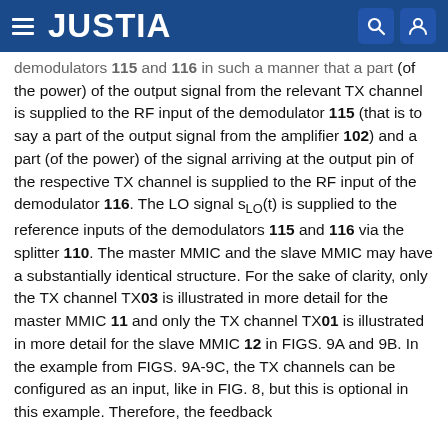JUSTIA
demodulators 115 and 116 in such a manner that a part (of the power) of the output signal from the relevant TX channel is supplied to the RF input of the demodulator 115 (that is to say a part of the output signal from the amplifier 102) and a part (of the power) of the signal arriving at the output pin of the respective TX channel is supplied to the RF input of the demodulator 116. The LO signal s_LO(t) is supplied to the reference inputs of the demodulators 115 and 116 via the splitter 110. The master MMIC and the slave MMIC may have a substantially identical structure. For the sake of clarity, only the TX channel TX03 is illustrated in more detail for the master MMIC 11 and only the TX channel TX01 is illustrated in more detail for the slave MMIC 12 in FIGS. 9A and 9B. In the example from FIGS. 9A-9C, the TX channels can be configured as an input, like in FIG. 8, but this is optional in this example. Therefore, the feedback